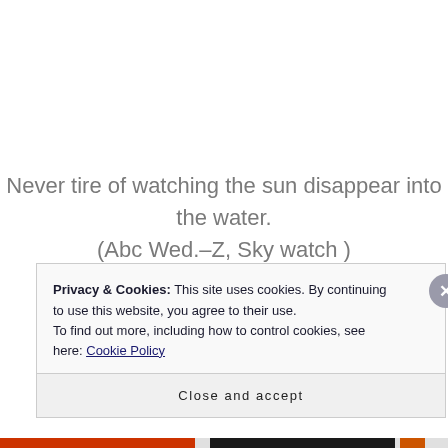Never tire of watching the sun disappear into the water.
(Abc Wed.-Z, Sky watch )
Privacy & Cookies: This site uses cookies. By continuing to use this website, you agree to their use.
To find out more, including how to control cookies, see here: Cookie Policy
Close and accept